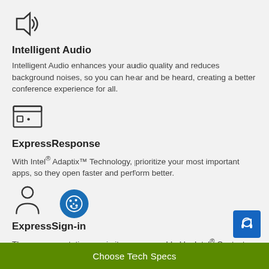[Figure (illustration): Speaker/audio icon (outline of speaker with sound waves)]
Intelligent Audio
Intelligent Audio enhances your audio quality and reduces background noises, so you can hear and be heard, creating a better conference experience for all.
[Figure (illustration): Credit card / ID card icon (rectangle with small square and dot)]
ExpressResponse
With Intel® Adaptix™ Technology, prioritize your most important apps, so they open faster and perform better.
[Figure (illustration): Person/user silhouette icon]
ExpressSign-in
The w tation proximity sensor enabled by Intel® Context Sensing Technology detects your presence to instantly wake
[Figure (illustration): Cookie consent icon overlay (blue circle with cookie/face graphic)]
[Figure (illustration): Blue floating action button with headset icon]
Choose Tech Specs